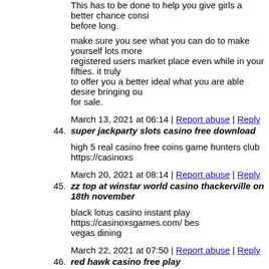This has to be done to help you give girls a better chance consi before long.
make sure you see what you can do to make yourself lots more registered users market place even while in your fifties. it truly to offer you a better ideal what you are able desire bringing ou for sale.
March 13, 2021 at 06:14 | Report abuse | Reply
44. super jackparty slots casino free download
high 5 real casino free coins game hunters club https://casinoxs
March 20, 2021 at 08:14 | Report abuse | Reply
45. zz top at winstar world casino thackerville on 18th november
black lotus casino instant play https://casinoxsgames.com/ bes vegas dining
March 22, 2021 at 07:50 | Report abuse | Reply
46. red hawk casino free play
poker palace casino https://casinoxsbonus.com/ st regis casino
March 23, 2021 at 21:52 | Report abuse | Reply
47. $100 free casino no deposit